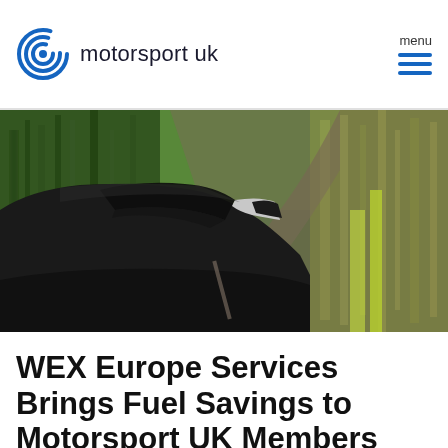motorsport uk
[Figure (photo): Side view of a dark car driving fast along a road, motion blur on green trees in background]
WEX Europe Services Brings Fuel Savings to Motorsport UK Members